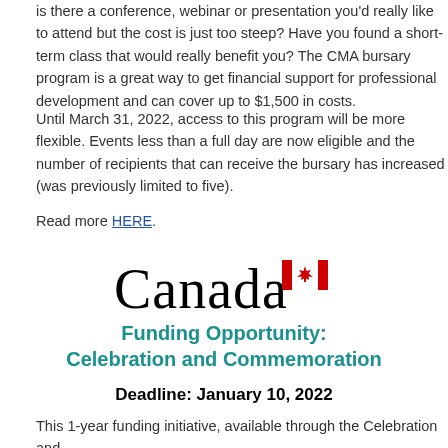is there a conference, webinar or presentation you'd really like to attend but the cost is just too steep? Have you found a short-term class that would really benefit you? The CMA bursary program is a great way to get financial support for professional development and can cover up to $1,500 in costs.
Until March 31, 2022, access to this program will be more flexible. Events less than a full day are now eligible and the number of recipients that can receive the bursary has increased (was previously limited to five).
Read more HERE.
[Figure (logo): Canada wordmark logo with red maple leaf flag icon]
Funding Opportunity: Celebration and Commemoration
Deadline: January 10, 2022
This 1-year funding initiative, available through the Celebration and Commemoration Program, will provide funding to eligible recipients to support activities